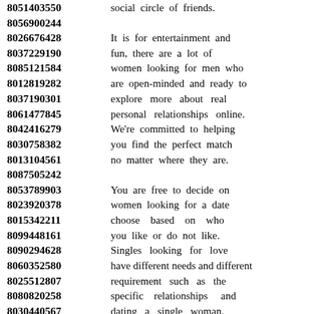8051403550 social circle of friends.
8056900244
8026676428 It is for entertainment and
8037229190 fun, there are a lot of
8085121584 women looking for men who
8012819282 are open-minded and ready to
8037190301 explore more about real
8061477845 personal relationships online.
8042416279 We're committed to helping
8030758382 you find the perfect match
8013104561 no matter where they are.
8087505242
8053789903 You are free to decide on
8023920378 women looking for a date
8015342211 choose based on who
8099448161 you like or do not like.
8090294628 Singles looking for love
8060352580 have different needs and different
8025512807 requirement such as the
8080820258 specific relationships and
8030440567 dating a single woman.
8016571182
8020773990 Dating site wants you to
8057439633 forget the past and try to
8088803339 sign up with our service
8063515310 to appreciate and enjoy